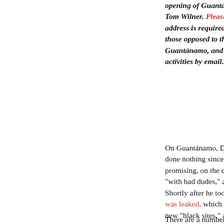opening of Guantánamo. Tom Wilner. Please join — email address is required — to support those opposed to the closing of Guantánamo, and to receive updates on activities by email.
On Guantánamo, Donald Trump has done nothing since he took office, after promising, on the campaign trail, to fill it "with bad dudes," and to keep it open. Shortly after he took office, a draft EO was leaked, which said he planned to open new "black sites," and to keep open Guantánamo, but on the day it was leaked, immediately by critics across the political spectrum, and even from his own appointees, and on that day his silence meant that he had decided it was not worth sending more prisoners to Guantánamo.
There are a number o